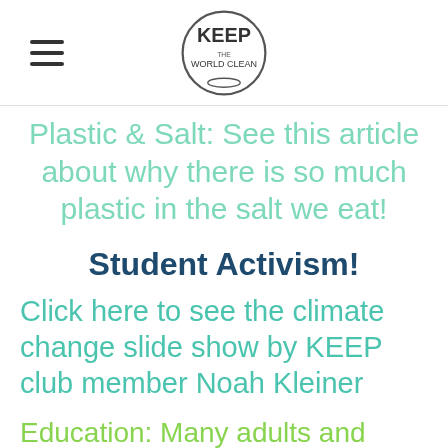KEEP
Plastic & Salt: See this article about why there is so much plastic in the salt we eat!
Student Activism!
Click here to see the climate change slide show by KEEP club member Noah Kleiner
Education: Many adults and children do not yet know what can and can't be recycled. Here is a video to